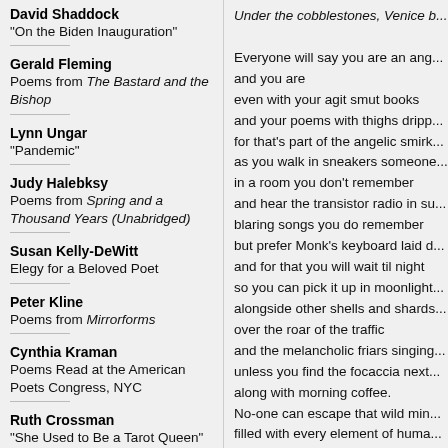David Shaddock
"On the Biden Inauguration"
Gerald Fleming
Poems from The Bastard and the Bishop
Lynn Ungar
"Pandemic"
Judy Halebksy
Poems from Spring and a Thousand Years (Unabridged)
Susan Kelly-DeWitt
Elegy for a Beloved Poet
Peter Kline
Poems from Mirrorforms
Cynthia Kraman
Poems Read at the American Poets Congress, NYC
Ruth Crossman
"She Used to Be a Tarot Queen"
Under the cobblestones, Venice b...

Everyone will say you are an ang...
and you are
even with your agit smut books
and your poems with thighs dripp...
for that's part of the angelic smirk...
as you walk in sneakers someone...
in a room you don't remember
and hear the transistor radio in su...
blaring songs you do remember
but prefer Monk's keyboard laid d...
and for that you will wait til night
so you can pick it up in moonlight...
alongside other shells and shards...
over the roar of the traffic
and the melancholic friars singing...
unless you find the focaccia next...
along with morning coffee.
No-one can escape that wild min...
filled with every element of huma...
every morsel of life,
every crumb from donut shops an...